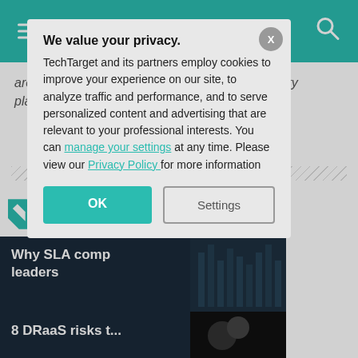SearchDataBackup
areas of business continuity and disaster recovery planning services, and corporate data protection.
Dig Deeper on Remote data protection
Why SLA comp... leaders
By: Paul Kirvan
8 DRaaS risks t...
We value your privacy. TechTarget and its partners employ cookies to improve your experience on our site, to analyze traffic and performance, and to serve personalized content and advertising that are relevant to your professional interests. You can manage your settings at any time. Please view our Privacy Policy for more information